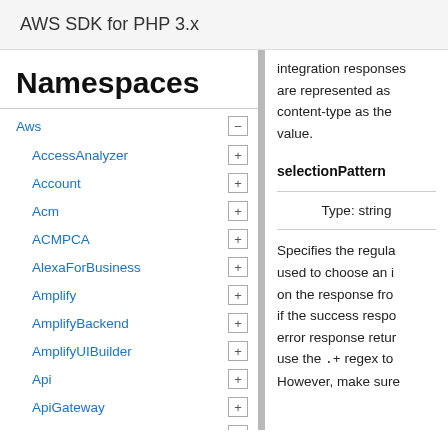AWS SDK for PHP 3.x
Namespaces
Aws
AccessAnalyzer
Account
Acm
ACMPCA
AlexaForBusiness
Amplify
AmplifyBackend
AmplifyUIBuilder
Api
ApiGateway
ApiGatewayManagementApi
integration responses are represented as content-type as the value.
selectionPattern
Type: string
Specifies the regular expression used to choose an integration response on the response from the backend if the success response or error response returned. use the .+ regex to However, make sure